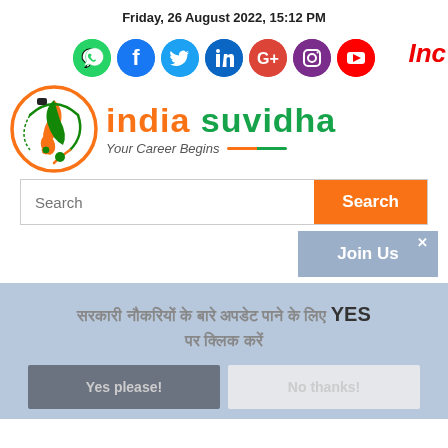Friday, 26 August 2022, 15:12 PM
Inc
[Figure (illustration): Social media icons row: WhatsApp, Facebook, Twitter, LinkedIn, Google+, Instagram, YouTube]
[Figure (logo): India Suvidha logo with circular emblem on left, text 'india suvidha' in orange and green, tagline 'Your Career Begins' in italic with orange-green underline]
Search
Search
× Join Us
सरकारी नौकरियों के बारे अपडेट पाने के लिए YES पर क्लिक करें
Yes please!
No thanks!